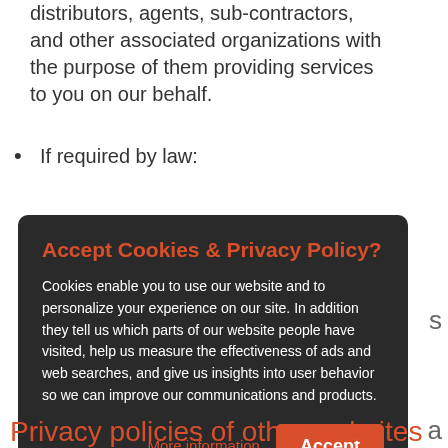distributors, agents, sub-contractors, and other associated organizations with the purpose of them providing services to you on our behalf.
If required by law:
[Figure (other): Cookie consent modal overlay with dark background. Title: 'Accept Cookies & Privacy Policy?' in orange. Body text about cookies enabling website use and personalization. Buttons: 'More information' (orange text, dotted underline) and 'Accept' (orange button).]
Privacy policies of other websites